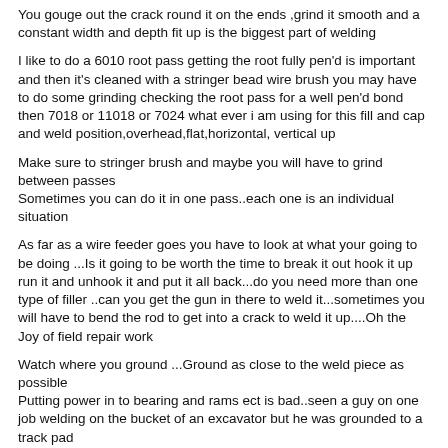You gouge out the crack round it on the ends ,grind it smooth and a constant width and depth fit up is the biggest part of welding
I like to do a 6010 root pass getting the root fully pen'd is important and then it's cleaned with a stringer bead wire brush you may have to do some grinding checking the root pass for a well pen'd bond then 7018 or 11018 or 7024 what ever i am using for this fill and cap and weld position,overhead,flat,horizontal, vertical up
Make sure to stringer brush and maybe you will have to grind between passes
Sometimes you can do it in one pass..each one is an individual situation
As far as a wire feeder goes you have to look at what your going to be doing ...Is it going to be worth the time to break it out hook it up run it and unhook it and put it all back...do you need more than one type of filler ..can you get the gun in there to weld it...sometimes you will have to bend the rod to get into a crack to weld it up....Oh the Joy of field repair work
Watch where you ground ...Ground as close to the weld piece as possible
Putting power in to bearing and rams ect is bad..seen a guy on one job welding on the bucket of an excavator but he was grounded to a track pad
Are you welding near something that you don't want to get real hot...Will it warp or twist...will it need fish plates or gussets maybe replacement